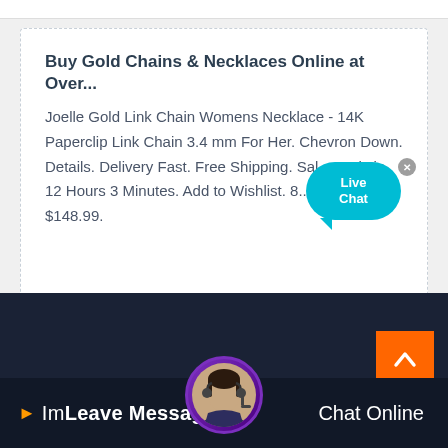Buy Gold Chains & Necklaces Online at Over...
Joelle Gold Link Chain Womens Necklace - 14K Paperclip Link Chain 3.4 mm For Her. Chevron Down. Details. Delivery Fast. Free Shipping. Sal... Ends in 12 Hours 3 Minutes. Add to Wishlist. 8... Was $148.99.
[Figure (illustration): Live Chat speech bubble popup with close button, teal/cyan color]
[Figure (illustration): Orange scroll-to-top button with upward chevron arrow]
[Figure (photo): Customer service agent avatar photo in circular frame with purple border]
Leave Message
Chat Online